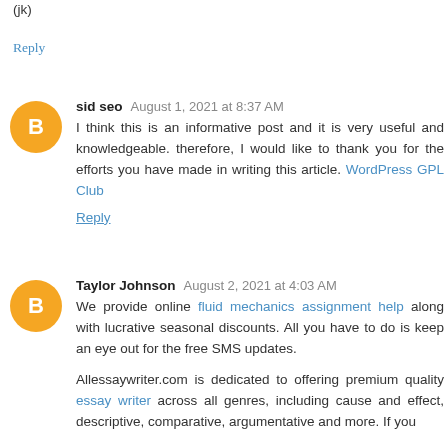(jk)
Reply
sid seo  August 1, 2021 at 8:37 AM
I think this is an informative post and it is very useful and knowledgeable. therefore, I would like to thank you for the efforts you have made in writing this article. WordPress GPL Club
Reply
Taylor Johnson  August 2, 2021 at 4:03 AM
We provide online fluid mechanics assignment help along with lucrative seasonal discounts. All you have to do is keep an eye out for the free SMS updates.

Allessaywriter.com is dedicated to offering premium quality essay writer across all genres, including cause and effect, descriptive, comparative, argumentative and more. If you